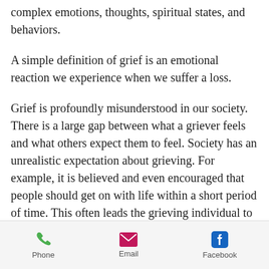complex emotions, thoughts, spiritual states, and behaviors.
A simple definition of grief is an emotional reaction we experience when we suffer a loss.
Grief is profoundly misunderstood in our society. There is a large gap between what a griever feels and what others expect them to feel. Society has an unrealistic expectation about grieving. For example, it is believed and even encouraged that people should get on with life within a short period of time. This often leads the grieving individual to feel anxious, afraid, and self-doubting.
Phone  Email  Facebook